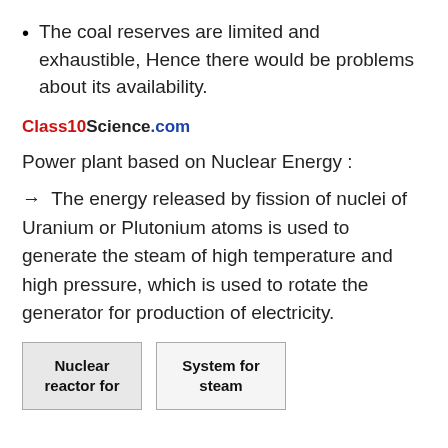The coal reserves are limited and exhaustible, Hence there would be problems about its availability.
Class10Science.com
Power plant based on Nuclear Energy :
→  The energy released by fission of nuclei of Uranium or Plutonium atoms is used to generate the steam of high temperature and high pressure, which is used to rotate the generator for production of electricity.
[Figure (schematic): Partial diagram showing two boxes: 'Nuclear reactor for' and 'System for steam']